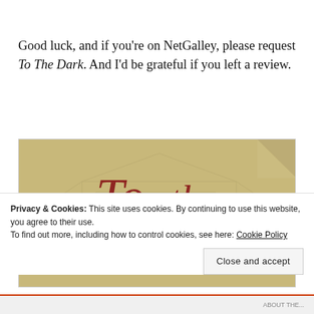Good luck, and if you're on NetGalley, please request To The Dark. And I'd be grateful if you left a review.
[Figure (photo): Book cover image showing stylized script lettering reading 'To the Dark' in dark red on an aged parchment-colored background with faint architectural sketches]
Privacy & Cookies: This site uses cookies. By continuing to use this website, you agree to their use.
To find out more, including how to control cookies, see here: Cookie Policy
Close and accept
ABOUT THE...